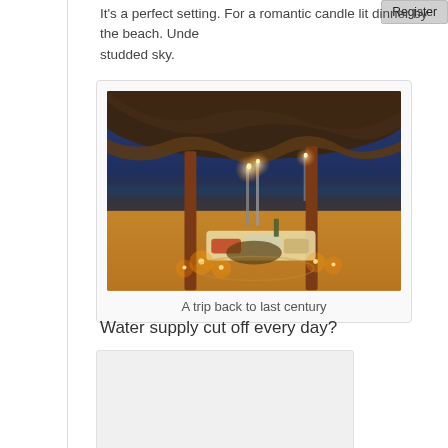It's a perfect setting. For a romantic candle lit dinner by the beach. Unde... studded sky.
[Figure (photo): A romantic beach dinner setup under a thatched palapa/hut at dusk, with candles arranged on the sand around a low table with cushions, ocean visible in background at twilight.]
A trip back to last century
Water supply cut off every day?